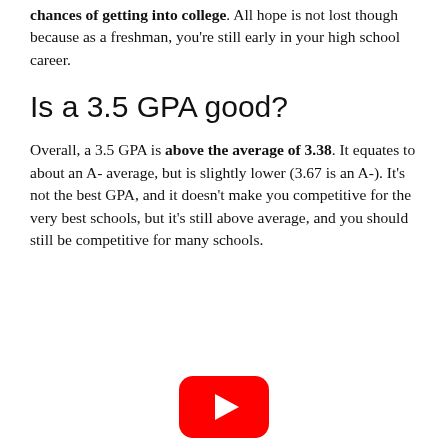chances of getting into college. All hope is not lost though because as a freshman, you're still early in your high school career.
Is a 3.5 GPA good?
Overall, a 3.5 GPA is above the average of 3.38. It equates to about an A- average, but is slightly lower (3.67 is an A-). It's not the best GPA, and it doesn't make you competitive for the very best schools, but it's still above average, and you should still be competitive for many schools.
[Figure (logo): YouTube logo icon — red rounded rectangle with white play triangle]